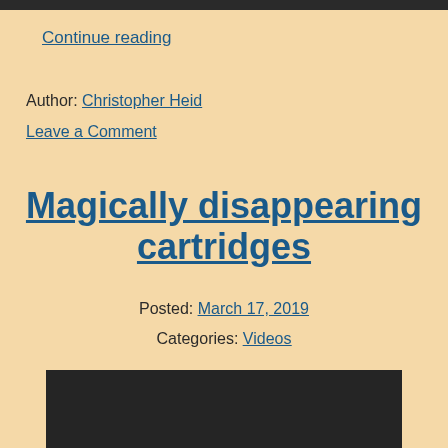Continue reading
Author: Christopher Heid
Leave a Comment
Magically disappearing cartridges
Posted: March 17, 2019
Categories: Videos
[Figure (other): Embedded video player (dark background)]